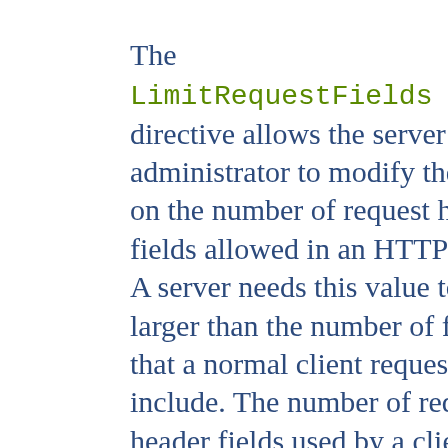(100 as distributed).
The LimitRequestFields directive allows the server administrator to modify the limit on the number of request header fields allowed in an HTTP request. A server needs this value to be larger than the number of fields that a normal client request might include. The number of request header fields used by a client rarely exceeds 20, but this may vary among different client implementations, often depending upon the extent to which a user has configured their browser to support detailed content